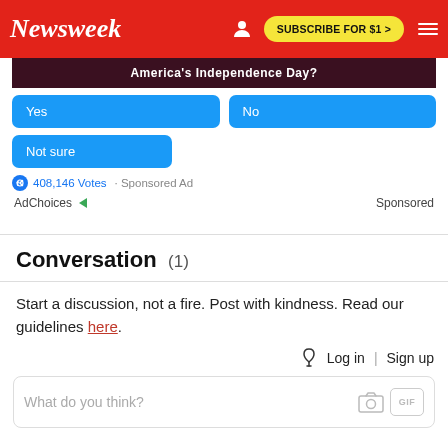Newsweek   SUBSCRIBE FOR $1 >
[Figure (screenshot): Poll ad with dark banner showing 'America's Independence Day?', three blue poll buttons labeled Yes, No, Not sure, with 408,146 Votes and Sponsored Ad label]
AdChoices   Sponsored
Conversation (1)
Start a discussion, not a fire. Post with kindness. Read our guidelines here.
Log in | Sign up
What do you think?